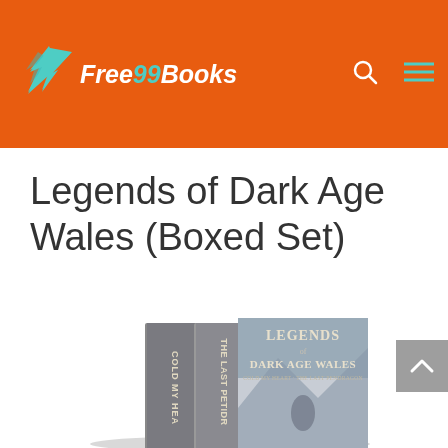Free99Books
Legends of Dark Age Wales (Boxed Set)
[Figure (photo): A boxed set of books titled 'Legends of Dark Age Wales' showing three book spines and a front cover with a winterscape illustration. Spine titles include 'Cold My Heart' and 'The Last Pendragon'.]